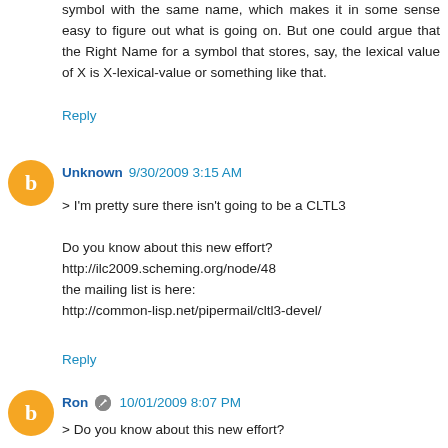symbol with the same name, which makes it in some sense easy to figure out what is going on. But one could argue that the Right Name for a symbol that stores, say, the lexical value of X is X-lexical-value or something like that.
Reply
Unknown 9/30/2009 3:15 AM
> I'm pretty sure there isn't going to be a CLTL3

Do you know about this new effort?
http://ilc2009.scheming.org/node/48
the mailing list is here:
http://common-lisp.net/pipermail/cltl3-devel/
Reply
Ron 10/01/2009 8:07 PM
> Do you know about this new effort?

Nope. Thanks for the pointer.